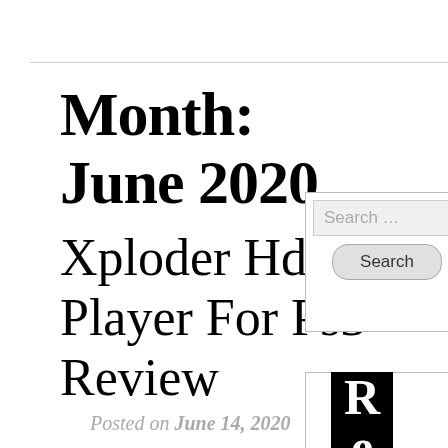Month: June 2020
Xploder Hd Movie Player For Ps3 Review
Posted on June 14, 2020